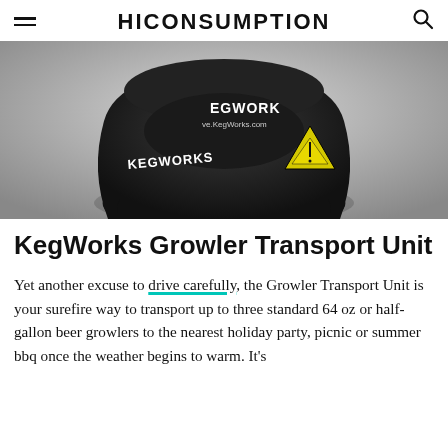HICONSUMPTION
[Figure (photo): KegWorks Growler Transport Unit product photo — black plastic base/carrier against a light gray gradient background, with KEGWORKS branding and a yellow warning triangle label visible.]
KegWorks Growler Transport Unit
Yet another excuse to drive carefully, the Growler Transport Unit is your surefire way to transport up to three standard 64 oz or half-gallon beer growlers to the nearest holiday party, picnic or summer bbq once the weather begins to warm. It's